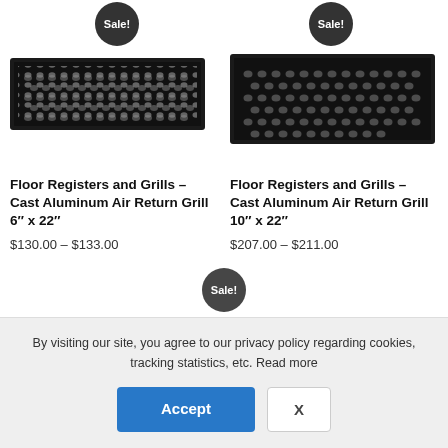[Figure (screenshot): E-commerce product listing page showing two floor register grill products with Sale badges and a cookie consent overlay at the bottom.]
Floor Registers and Grills – Cast Aluminum Air Return Grill 6" x 22"
$130.00 – $133.00
Floor Registers and Grills – Cast Aluminum Air Return Grill 10" x 22"
$207.00 – $211.00
By visiting our site, you agree to our privacy policy regarding cookies, tracking statistics, etc. Read more
Accept
X